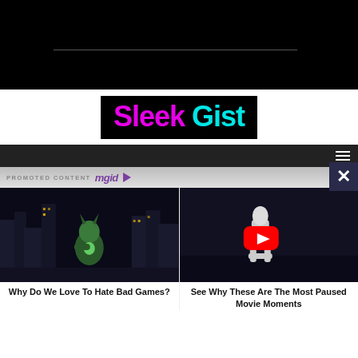[Figure (screenshot): Black banner area at the top with a horizontal divider line]
[Figure (logo): Sleek Gist logo on black background with magenta 'Sleek' and cyan 'Gist' text]
[Figure (screenshot): Dark navigation bar with hamburger menu icon]
PROMOTED CONTENT mgid
[Figure (photo): Sonic-like video game character in a city at night]
Why Do We Love To Hate Bad Games?
[Figure (photo): Woman sitting in dark room - movie scene with YouTube play button]
See Why These Are The Most Paused Movie Moments